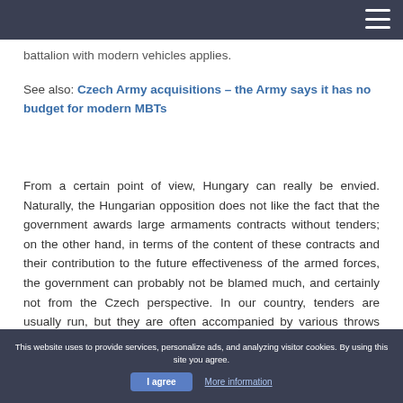battalion with modern vehicles applies.
See also: Czech Army acquisitions – the Army says it has no budget for modern MBTs
From a certain point of view, Hungary can really be envied. Naturally, the Hungarian opposition does not like the fact that the government awards large armaments contracts without tenders; on the other hand, in terms of the content of these contracts and their contribution to the future effectiveness of the armed forces, the government can probably not be blamed much, and certainly not from the Czech perspective. In our country, tenders are usually run, but they are often accompanied by various throws and oddities, and usually also delays. The result counts. The Hungarian result is that by 2025, its tank battalion will have 44 state-of-the-art tanks and
This website uses to provide services, personalize ads, and analyzing visitor cookies. By using this site you agree. I agree  More information